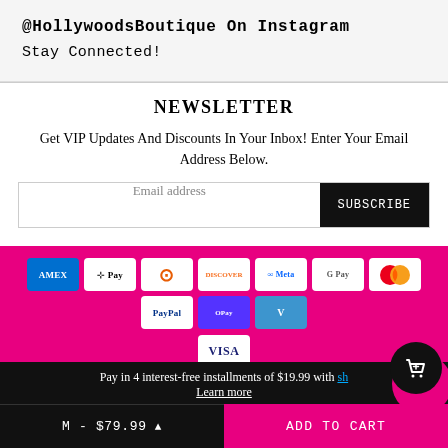@HollywoodsBoutique On Instagram
Stay Connected!
NEWSLETTER
Get VIP Updates And Discounts In Your Inbox! Enter Your Email Address Below.
Email address | SUBSCRIBE
[Figure (other): Payment method icons: American Express, Apple Pay, Diners Club, Discover, Meta Pay, Google Pay, Mastercard, PayPal, Shop Pay, Venmo, Visa]
© 2022 Hollywood's Boutique. All Rights Reserved
Pay in 4 interest-free installments of $19.99 with shop. Learn more
M - $79.99  ADD TO CART